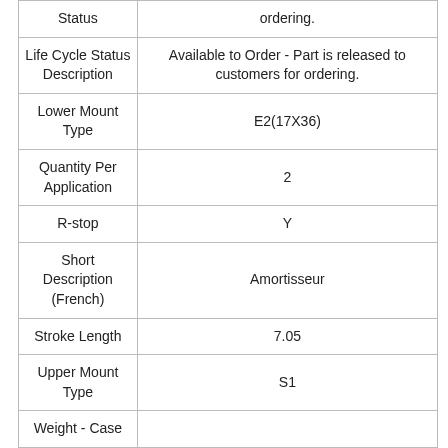| Field | Value |
| --- | --- |
| Status | ordering. |
| Life Cycle Status Description | Available to Order - Part is released to customers for ordering. |
| Lower Mount Type | E2(17X36) |
| Quantity Per Application | 2 |
| R-stop | Y |
| Short Description (French) | Amortisseur |
| Stroke Length | 7.05 |
| Upper Mount Type | S1 |
| Weight - Case |  |